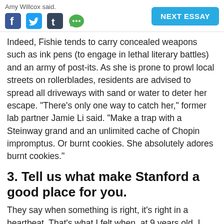Amy Willcox said.
Indeed, Fishie tends to carry concealed weapons such as ink pens (to engage in lethal literary battles) and an army of post-its. As she is prone to prowl local streets on rollerblades, residents are advised to spread all driveways with sand or water to deter her escape. "There's only one way to catch her," former lab partner Jamie Li said. "Make a trap with a Steinway grand and an unlimited cache of Chopin impromptus. Or burnt cookies. She absolutely adores burnt cookies."
3. Tell us what make Stanford a good place for you.
They say when something is right, it's right in a heartbeat. That's what I felt when, at 9 years old, I skipped into Stanford's characteristic main quad for the first time. Never having imagined that a college could appear so